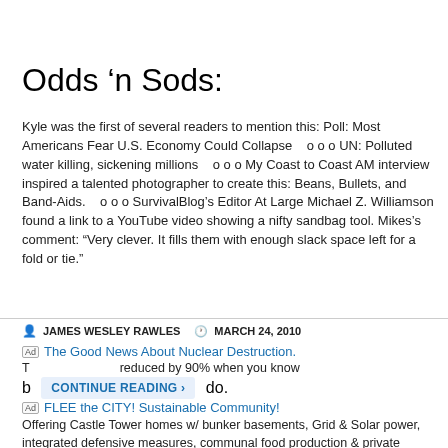Odds ‘n Sods:
Kyle was the first of several readers to mention this: Poll: Most Americans Fear U.S. Economy Could Collapse   o o o UN: Polluted water killing, sickening millions   o o o My Coast to Coast AM interview inspired a talented photographer to create this: Beans, Bullets, and Band-Aids.   o o o SurvivalBlog’s Editor At Large Michael Z. Williamson found a link to a YouTube video showing a nifty sandbag tool. Mikes’s comment: “Very clever. It fills them with enough slack space left for a fold or tie.”
JAMES WESLEY RAWLES   MARCH 24, 2010
The Good News About Nuclear Destruction.
T reduced by 90% when you know b do.
FLEE the CITY! Sustainable Community!
Offering Castle Tower homes w/ bunker basements, Grid & Solar power, integrated defensive measures, communal food production & private shooting ranges.